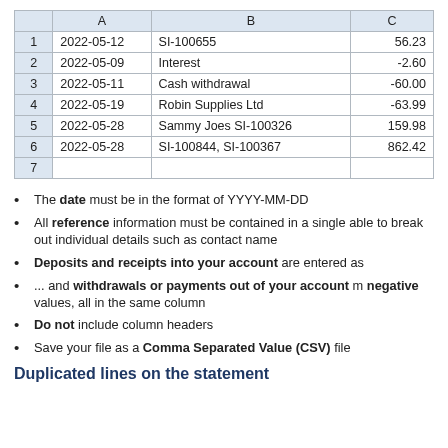|  | A | B | C |
| --- | --- | --- | --- |
| 1 | 2022-05-12 | SI-100655 | 56.23 |
| 2 | 2022-05-09 | Interest | -2.60 |
| 3 | 2022-05-11 | Cash withdrawal | -60.00 |
| 4 | 2022-05-19 | Robin Supplies Ltd | -63.99 |
| 5 | 2022-05-28 | Sammy Joes SI-100326 | 159.98 |
| 6 | 2022-05-28 | SI-100844, SI-100367 | 862.42 |
| 7 |  |  |  |
The date must be in the format of YYYY-MM-DD
All reference information must be contained in a single able to break out individual details such as contact name
Deposits and receipts into your account are entered as
... and withdrawals or payments out of your account m negative values, all in the same column
Do not include column headers
Save your file as a Comma Separated Value (CSV) file
Duplicated lines on the statement